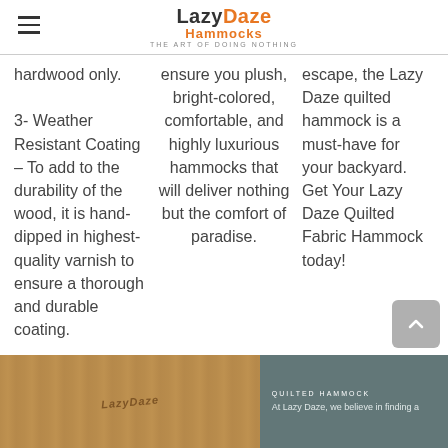Lazy Daze Hammocks — The Art of Doing Nothing
hardwood only.
ensure you plush, bright-colored, comfortable, and highly luxurious hammocks that will deliver nothing but the comfort of paradise.
escape, the Lazy Daze quilted hammock is a must-have for your backyard. Get Your Lazy Daze Quilted Fabric Hammock today!
3- Weather Resistant Coating – To add to the durability of the wood, it is hand-dipped in highest-quality varnish to ensure a thorough and durable coating.
[Figure (photo): Bottom strip showing a wooden hammock spreader bar with Lazy Daze branding, and a teal overlay panel with 'QUILTED HAMMOCK' label and descriptive text]